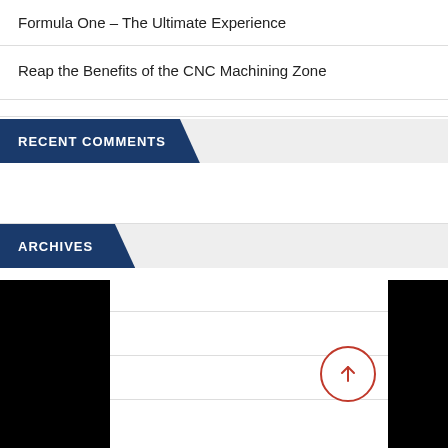Formula One – The Ultimate Experience
Reap the Benefits of the CNC Machining Zone
RECENT COMMENTS
ARCHIVES
August 2022
July 2022
June 2022
May 2022